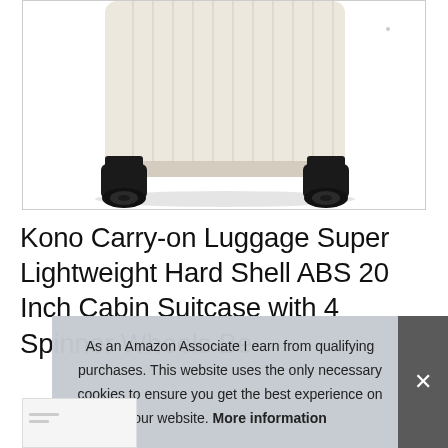[Figure (photo): Bottom half of a cream/beige hard shell carry-on suitcase showing four black spinner wheels on a white/light grey background, photographed from the front.]
Kono Carry-on Luggage Super Lightweight Hard Shell ABS 20 Inch Cabin Suitcase with 4 Spinner Wheels Be
As an Amazon Associate I earn from qualifying purchases. This website uses the only necessary cookies to ensure you get the best experience on our website. More information